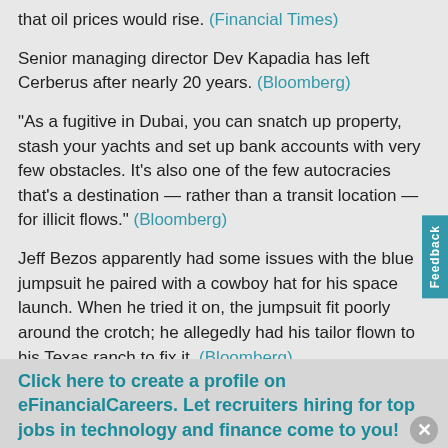that oil prices would rise. (Financial Times)
Senior managing director Dev Kapadia has left Cerberus after nearly 20 years. (Bloomberg)
"As a fugitive in Dubai, you can snatch up property, stash your yachts and set up bank accounts with very few obstacles. It's also one of the few autocracies that's a destination — rather than a transit location — for illicit flows." (Bloomberg)
Jeff Bezos apparently had some issues with the blue jumpsuit he paired with a cowboy hat for his space launch. When he tried it on, the jumpsuit fit poorly around the crotch; he allegedly had his tailor flown to his Texas ranch to fix it. (Bloomberg)
Click here to create a profile on eFinancialCareers. Let recruiters hiring for top jobs in technology and finance come to you!